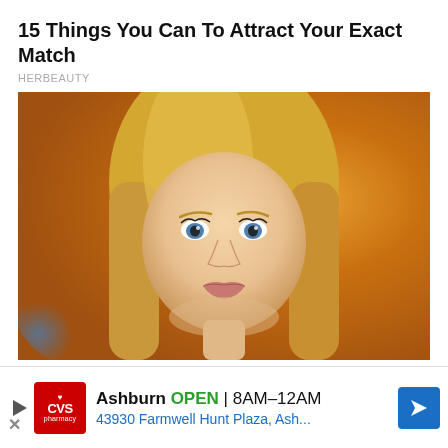15 Things You Can To Attract Your Exact Match
HERBEAUTY
[Figure (photo): Close-up portrait of a young blonde woman with blue eyes and long straight hair against a warm orange/amber background]
Actors Who Tore Down Entire Career On The Heals Of One Great Film
[Figure (other): CVS Pharmacy advertisement banner showing Ashburn location OPEN 8AM-12AM, 43930 Farmwell Hunt Plaza, Ash...]